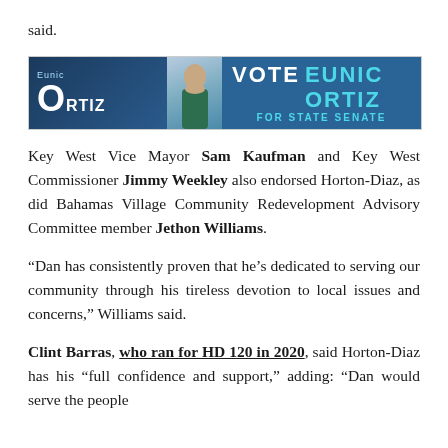said.
[Figure (advertisement): Political advertisement banner for Eunic Ortiz, Vote Eunic Ortiz For State Senate, with candidate photo and logo]
Key West Vice Mayor Sam Kaufman and Key West Commissioner Jimmy Weekley also endorsed Horton-Diaz, as did Bahamas Village Community Redevelopment Advisory Committee member Jethon Williams.
“Dan has consistently proven that he’s dedicated to serving our community through his tireless devotion to local issues and concerns,” Williams said.
Clint Barras, who ran for HD 120 in 2020, said Horton-Diaz has his “full confidence and support,” adding: “Dan would serve the people